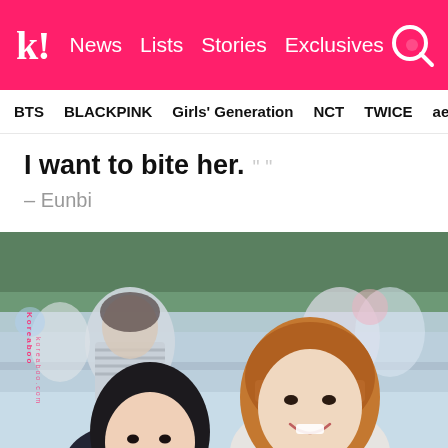k! News Lists Stories Exclusives
BTS BLACKPINK Girls' Generation NCT TWICE aespa
I want to bite her. “”
– Eunbi
[Figure (photo): Two young women (K-pop idols) smiling at the camera at an outdoor event with a crowd in the background. The woman on the right has auburn/reddish-brown hair with bangs and is smiling brightly. The woman on the left has dark hair. A pink Koreaboo watermark is visible on the left side.]